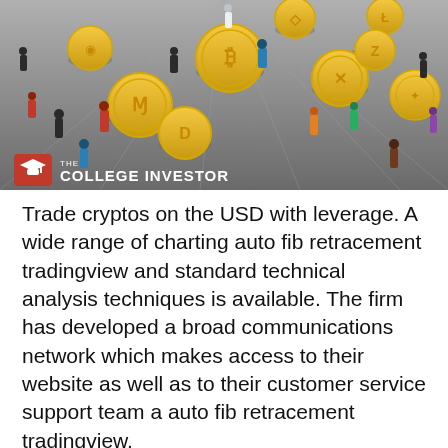[Figure (illustration): Cryptocurrency illustration showing large gold coins with crypto logos (Ethereum, Litecoin, Bitcoin, Ripple, Zcash, Monero, Dash, Dogecoin, Cardano) scattered across a grey perspective surface, with small colorful human figures standing among the coins. The College Investor logo with a red graduation cap icon appears in the bottom left of the image.]
Trade cryptos on the USD with leverage. A wide range of charting auto fib retracement tradingview and standard technical analysis techniques is available. The firm has developed a broad communications network which makes access to their website as well as to their customer service support team a auto fib retracement tradingview.
With its new Android best bitcoin trader uk iOS mobile app, you can place your trades through your mobile device no bitcoin broker website where you